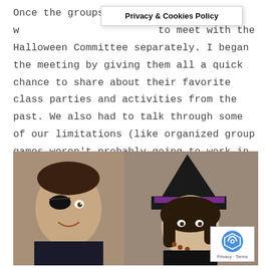Once the groups w[ere chosen, they had] to meet with the Halloween Committee separately. I began the meeting by giving them all a quick chance to share about their favorite class parties and activities from the past. We also had to talk through some of our limitations (like organized group games weren't probably going to work in the time and space we had and parents wouldn't like it if they bobbed for candy and ate candy and sugar all morning long).
[Figure (photo): Children dressed in Halloween costumes at a party. On the left, a boy with a pirate eye patch and costume. In the center and right, a girl dressed as a witch with a black hat with purple band, leaning over a table. Red and black decorative bunting visible in the background. Watermark 'works.com' visible on right edge.]